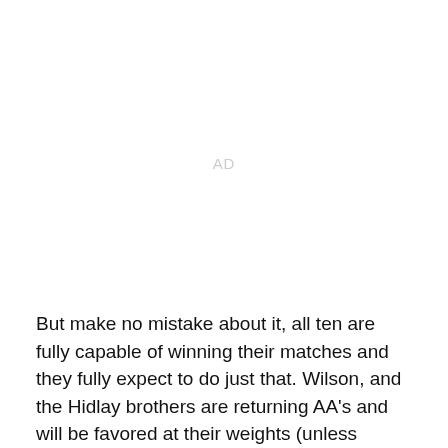AD
But make no mistake about it, all ten are fully capable of winning their matches and they fully expect to do just that. Wilson, and the Hidlay brothers are returning AA's and will be favored at their weights (unless Michael Kemerer gets the surprising nod tonight). With